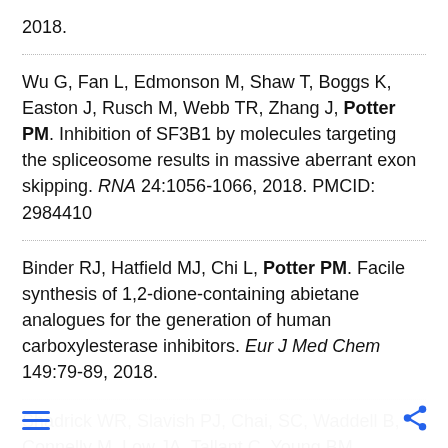2018.
Wu G, Fan L, Edmonson M, Shaw T, Boggs K, Easton J, Rusch M, Webb TR, Zhang J, Potter PM. Inhibition of SF3B1 by molecules targeting the spliceosome results in massive aberrant exon skipping. RNA 24:1056-1066, 2018. PMCID: 2984410
Binder RJ, Hatfield MJ, Chi L, Potter PM. Facile synthesis of 1,2-dione-containing abietane analogues for the generation of human carboxylesterase inhibitors. Eur J Med Chem 149:79-89, 2018.
Shadrick WR, Slavish PJ, Chai, SC, Waddell B, Connelly M, Low JA, Tallant C, Young BM, Bharatham N, Knapp